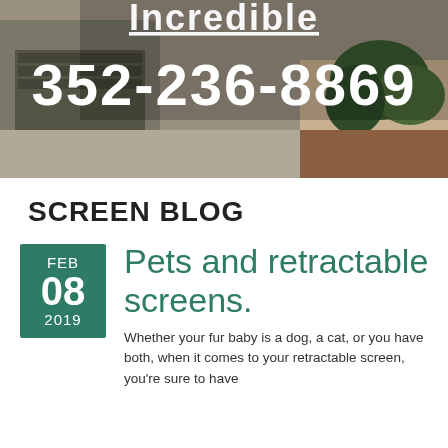[Figure (photo): Hero banner image showing a garage with retractable screen, outdoor plants visible, with overlay text showing phone number 352-236-8869 and partial word 'Incredible']
SCREEN BLOG
Pets and retractable screens.
Whether your fur baby is a dog, a cat, or you have both, when it comes to your retractable screen, you're sure to have